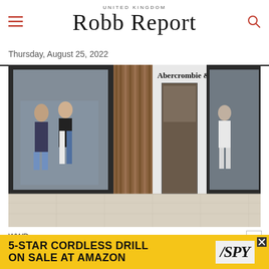UNITED KINGDOM Robb Report
Thursday, August 25, 2022
[Figure (photo): Exterior storefront of Abercrombie & Fitch retail store in a shopping mall, showing display windows with mannequins in jeans and casual wear, wood paneling, and store signage reading 'Abercrombie & Fitch']
WWD
Q2 at A&F Co.: A Tale of Two Brands
[Figure (infographic): Advertisement banner: 5-STAR CORDLESS DRILL ON SALE AT AMAZON / SPY]